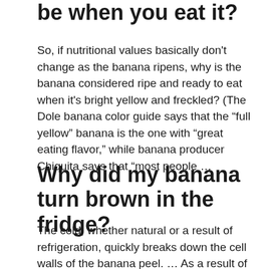be when you eat it?
So, if nutritional values basically don't change as the banana ripens, why is the banana considered ripe and ready to eat when it's bright yellow and freckled? (The Dole banana color guide says that the “full yellow” banana is the one with “great eating flavor,” while banana producer Chiquita says that “most people …
Why did my banana turn brown in the fridge?
The cold, whether natural or a result of refrigeration, quickly breaks down the cell walls of the banana peel. … As a result of this interaction, the phelonic compounds